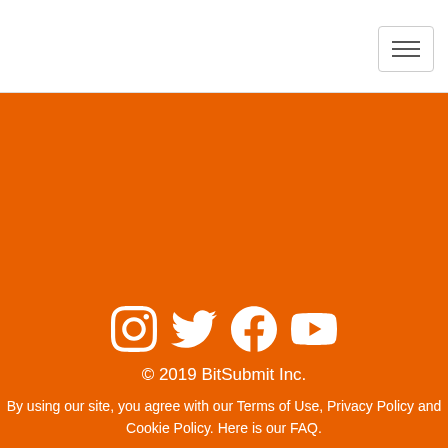[Figure (other): Hamburger menu button icon with three horizontal lines]
[Figure (other): Social media icons row: Instagram, Twitter, Facebook, YouTube]
© 2019 BitSubmit Inc.
By using our site, you agree with our Terms of Use, Privacy Policy and Cookie Policy. Here is our FAQ.